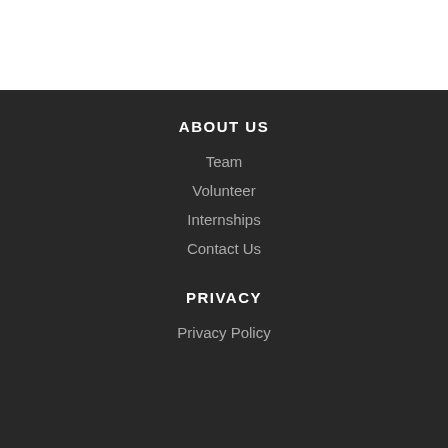ABOUT US
Team
Volunteer
Internships
Contact Us
PRIVACY
Privacy Policy